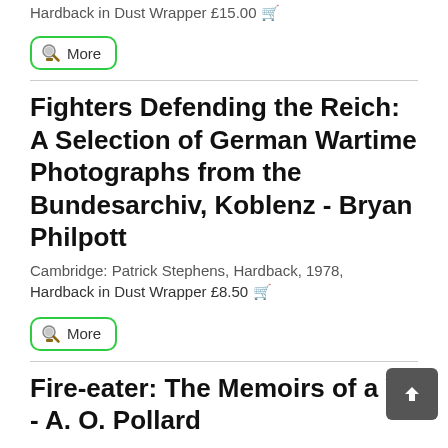Hardback in Dust Wrapper £15.00
[Figure (illustration): More button with magnifying glass icon, green rounded border]
Fighters Defending the Reich: A Selection of German Wartime Photographs from the Bundesarchiv, Koblenz - Bryan Philpott
Cambridge: Patrick Stephens, Hardback, 1978,
Hardback in Dust Wrapper £8.50
[Figure (illustration): More button with magnifying glass icon, green rounded border]
Fire-eater: The Memoirs of a V. - A. O. Pollard
[Figure (illustration): Back to top button, dark grey with upward arrow]